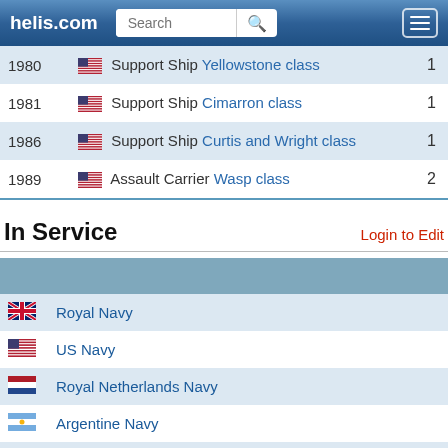helis.com
| Year | Description | Count |
| --- | --- | --- |
| 1980 | 🇺🇸 Support Ship Yellowstone class | 1 |
| 1981 | 🇺🇸 Support Ship Cimarron class | 1 |
| 1986 | 🇺🇸 Support Ship Curtis and Wright class | 1 |
| 1989 | 🇺🇸 Assault Carrier Wasp class | 2 |
In Service
|  | Navy |
| --- | --- |
| 🇬🇧 | Royal Navy |
| 🇺🇸 | US Navy |
| 🇳🇱 | Royal Netherlands Navy |
| 🇦🇷 | Argentine Navy |
| 🇧🇷 | Brazilian Navy |
| 🇫🇷 | French Navy |
| 🇨🇦 | Canadian Armed Forces |